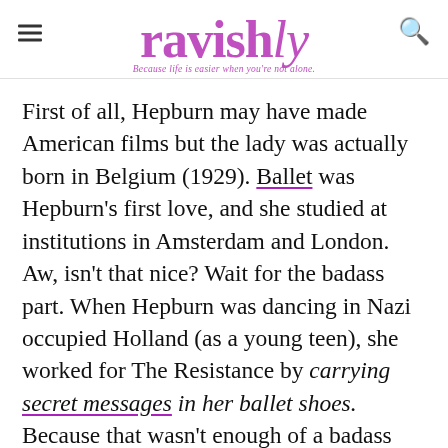ravishly — Because life is easier when you're not alone.
First of all, Hepburn may have made American films but the lady was actually born in Belgium (1929). Ballet was Hepburn's first love, and she studied at institutions in Amsterdam and London. Aw, isn't that nice? Wait for the badass part. When Hepburn was dancing in Nazi occupied Holland (as a young teen), she worked for The Resistance by carrying secret messages in her ballet shoes. Because that wasn't enough of a badass ballerina move, Hepburn performed in blackout dance shows—yes, that means secret shows with drawn blinds—to raise money for The Resistance as well. Oh, and all the while